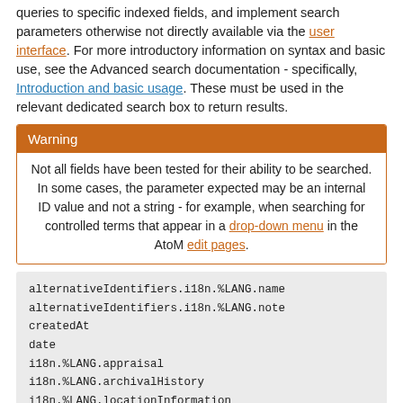queries to specific indexed fields, and implement search parameters otherwise not directly available via the user interface. For more introductory information on syntax and basic use, see the Advanced search documentation - specifically, Introduction and basic usage. These must be used in the relevant dedicated search box to return results.
Warning
Not all fields have been tested for their ability to be searched. In some cases, the parameter expected may be an internal ID value and not a string - for example, when searching for controlled terms that appear in a drop-down menu in the AtoM edit pages.
alternativeIdentifiers.i18n.%LANG.name
alternativeIdentifiers.i18n.%LANG.note
createdAt
date
i18n.%LANG.appraisal
i18n.%LANG.archivalHistory
i18n.%LANG.locationInformation
i18n.%LANG.physicalCharacteristics
i18n.%LANG.processingNotes
i18n.%LANG.receivedExtentUnits